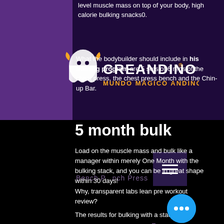level muscle mass on top of your body, high calorie bulking snacks0.
[Figure (logo): Creandino registered trademark logo with ghost mascot and subtitle MUNDO MAGICO ANDINO]
What the bodybuilder should include in his training program are 5 sets of 6 reps of the chest press, the chest press bench and the Chin-up Bar.
Bench P... nch Press
[Figure (other): Hamburger menu icon]
[Figure (other): Shopping cart icon with 0 items]
5 month bulk
Load on the muscle mass and bulk like a manager within merely One Month with the bulking stack, and you can be in great shape within 30 days!
Why, transparent labs lean pre workout review?
The results for bulking with a stack have